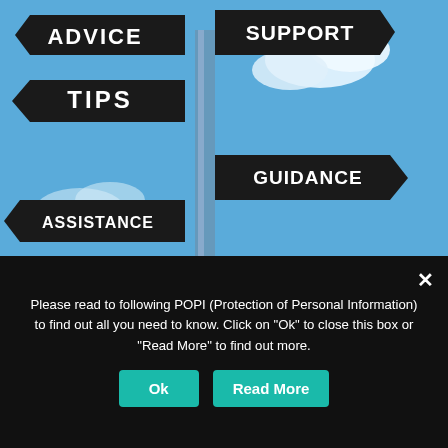[Figure (photo): Directional signpost with multiple black arrow signs reading ADVICE, SUPPORT, TIPS, GUIDANCE, ASSISTANCE, against a blue sky with clouds.]
Job Hunting – FAQs
Frequently Asked Questions: Can I add my photograph to my CV? It's not necessary, but at the same time it wouldn't hurt – just make sure the photo is
0  Read more
Please read to following POPI (Protection of Personal Information) to find out all you need to know. Click on "Ok" to close this box or "Read More" to find out more.